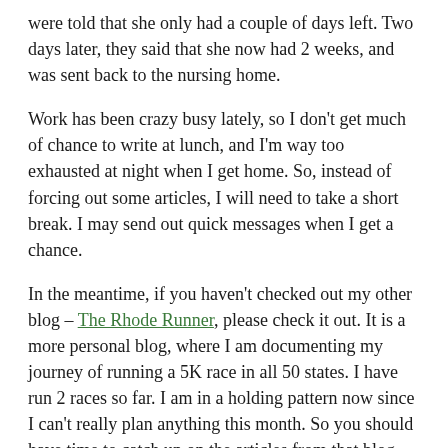were told that she only had a couple of days left. Two days later, they said that she now had 2 weeks, and was sent back to the nursing home.
Work has been crazy busy lately, so I don't get much of chance to write at lunch, and I'm way too exhausted at night when I get home. So, instead of forcing out some articles, I will need to take a short break. I may send out quick messages when I get a chance.
In the meantime, if you haven't checked out my other blog – The Rhode Runner, please check it out. It is a more personal blog, where I am documenting my journey of running a 5K race in all 50 states. I have run 2 races so far. I am in a holding pattern now since I can't really plan anything this month. So you should have time to catch up on the articles from that blog.
In sad times like these, it is always nice to look back on some